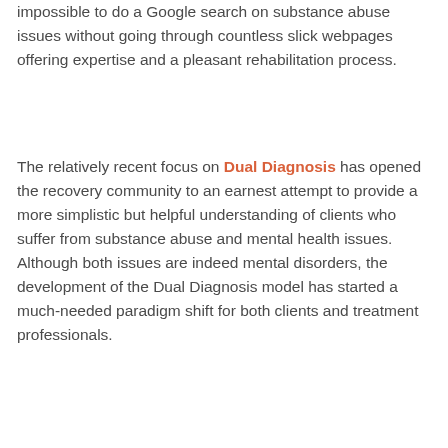impossible to do a Google search on substance abuse issues without going through countless slick webpages offering expertise and a pleasant rehabilitation process.
The relatively recent focus on Dual Diagnosis has opened the recovery community to an earnest attempt to provide a more simplistic but helpful understanding of clients who suffer from substance abuse and mental health issues. Although both issues are indeed mental disorders, the development of the Dual Diagnosis model has started a much-needed paradigm shift for both clients and treatment professionals.